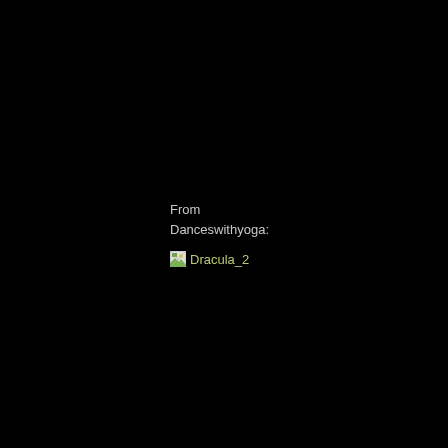From
Danceswithyoga:
[Figure (other): Broken image placeholder labeled Dracula_2 with small image icon]